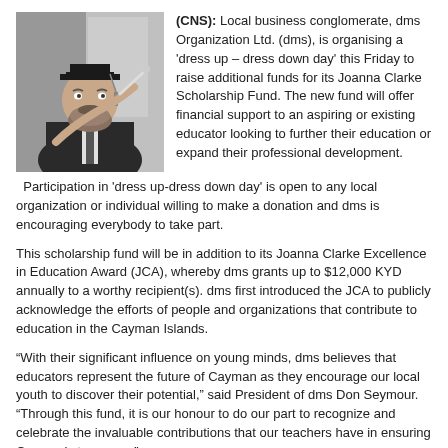[Figure (photo): Black and white photo of a bearded man wearing a graduation cap and suit, holding a conductor's baton and pointing it toward the camera]
(CNS): Local business conglomerate, dms Organization Ltd. (dms), is organising a 'dress up – dress down day' this Friday to raise additional funds for its Joanna Clarke Scholarship Fund. The new fund will offer financial support to an aspiring or existing educator looking to further their education or expand their professional development. Participation in 'dress up-dress down day' is open to any local organization or individual willing to make a donation and dms is encouraging everybody to take part.
This scholarship fund will be in addition to its Joanna Clarke Excellence in Education Award (JCA), whereby dms grants up to $12,000 KYD annually to a worthy recipient(s). dms first introduced the JCA to publicly acknowledge the efforts of people and organizations that contribute to education in the Cayman Islands.
“With their significant influence on young minds, dms believes that educators represent the future of Cayman as they encourage our local youth to discover their potential,” said President of dms Don Seymour. “Through this fund, it is our honour to do our part to recognize and celebrate the invaluable contributions that our teachers have in ensuring Cayman’s tomorrow.”